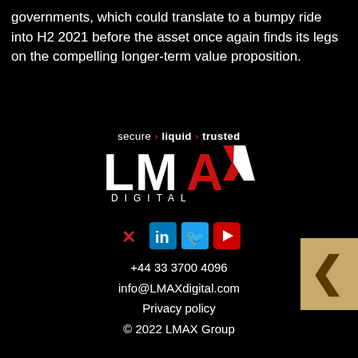governments, which could translate to a bumpy ride into H2 2021 before the asset once again finds its legs on the compelling longer-term value proposition.
[Figure (logo): LMAX Digital logo with tagline 'secure > liquid > trusted']
[Figure (infographic): Social media icons: X (Twitter), LinkedIn, Twitter bird, YouTube]
+44 33 3700 4096
info@LMAXdigital.com
Privacy policy
© 2022 LMAX Group